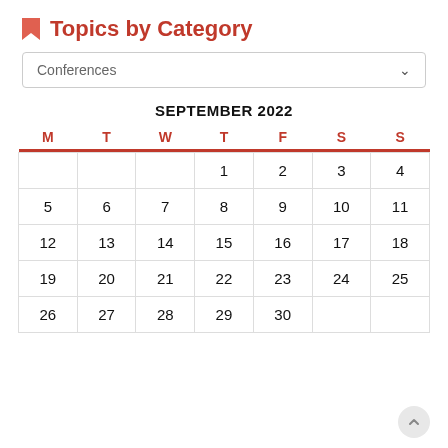Topics by Category
Conferences
| M | T | W | T | F | S | S |
| --- | --- | --- | --- | --- | --- | --- |
|  |  |  | 1 | 2 | 3 | 4 |
| 5 | 6 | 7 | 8 | 9 | 10 | 11 |
| 12 | 13 | 14 | 15 | 16 | 17 | 18 |
| 19 | 20 | 21 | 22 | 23 | 24 | 25 |
| 26 | 27 | 28 | 29 | 30 |  |  |